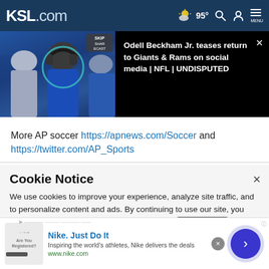KSL.com — 95° Weather, Search, Account, Menu
[Figure (screenshot): Video thumbnail showing football players in blue uniforms with play overlay, alongside article headline about Odell Beckham Jr.]
Odell Beckham Jr. teases return to Giants & Rams on social media | NFL | UNDISPUTED
More AP soccer https://apnews.com/Soccer and https://twitter.com/AP_Sports
Cookie Notice
We use cookies to improve your experience, analyze site traffic, and to personalize content and ads. By continuing to use our site, you consent to our use of cookies. Please visit our Terms of Use and  Privacy Policy for more information
[Figure (infographic): Nike advertisement banner — Nike. Just Do It. Inspiring the world's athletes, Nike delivers the deals. www.nike.com]